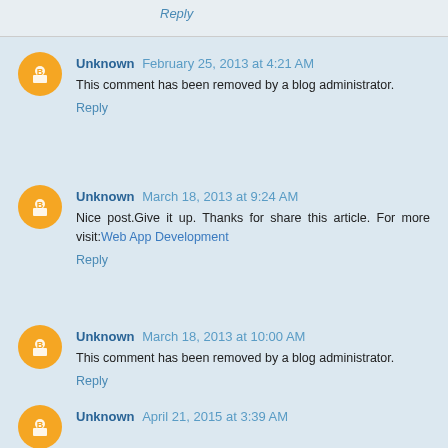Reply
Unknown  February 25, 2013 at 4:21 AM
This comment has been removed by a blog administrator.
Reply
Unknown  March 18, 2013 at 9:24 AM
Nice post.Give it up. Thanks for share this article. For more visit:Web App Development
Reply
Unknown  March 18, 2013 at 10:00 AM
This comment has been removed by a blog administrator.
Reply
Unknown  April 21, 2015 at 3:39 AM